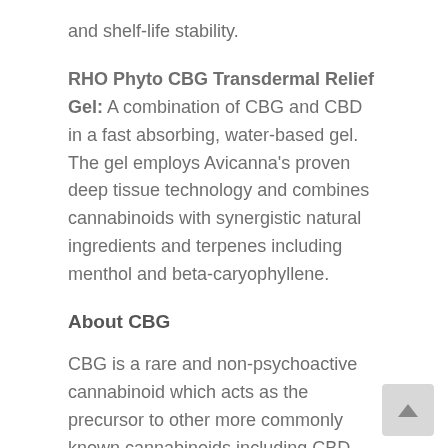and shelf-life stability.
RHO Phyto CBG Transdermal Relief Gel: A combination of CBG and CBD in a fast absorbing, water-based gel. The gel employs Avicanna's proven deep tissue technology and combines cannabinoids with synergistic natural ingredients and terpenes including menthol and beta-caryophyllene.
About CBG
CBG is a rare and non-psychoactive cannabinoid which acts as the precursor to other more commonly known cannabinoids including CBD and THC, CBG; interacts with several receptors throughout the skin and body that are known to be targets for inflammation, infection, pain, as well as neurological and mood related disorders. Specifically, modern research has